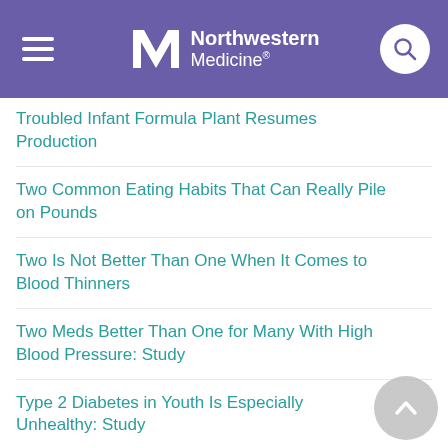Northwestern Medicine
Troubled Infant Formula Plant Resumes Production
Two Common Eating Habits That Can Really Pile on Pounds
Two Is Not Better Than One When It Comes to Blood Thinners
Two Meds Better Than One for Many With High Blood Pressure: Study
Type 2 Diabetes in Youth Is Especially Unhealthy: Study
Type 2 Diabetes Linked to Worse Mental Outcomes After Stroke
U.S. Baby Formula Shortage Worsens
U.S. Hispanics at High Heart Disease Risk and